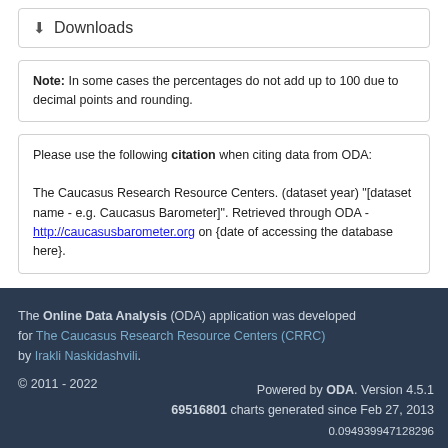Downloads
Note: In some cases the percentages do not add up to 100 due to decimal points and rounding.
Please use the following citation when citing data from ODA:

The Caucasus Research Resource Centers. (dataset year) "[dataset name - e.g. Caucasus Barometer]". Retrieved through ODA - http://caucasusbarometer.org on {date of accessing the database here}.
The Online Data Analysis (ODA) application was developed for The Caucasus Research Resource Centers (CRRC) by Irakli Naskidashvili.
© 2011 - 2022
Powered by ODA. Version 4.5.1
69516801 charts generated since Feb 27, 2013
0.094939947128296